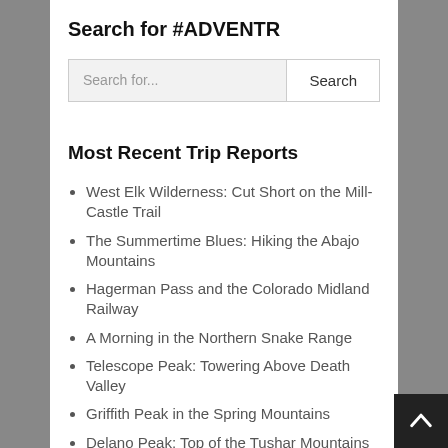Search for #ADVENTR
[Figure (screenshot): Search bar with placeholder text 'Search for...' and a Search button]
Most Recent Trip Reports
West Elk Wilderness: Cut Short on the Mill-Castle Trail
The Summertime Blues: Hiking the Abajo Mountains
Hagerman Pass and the Colorado Midland Railway
A Morning in the Northern Snake Range
Telescope Peak: Towering Above Death Valley
Griffith Peak in the Spring Mountains
Delano Peak: Top of the Tushar Mountains
The Rico Mountains & Lizard Head Wilderness
High Mesas and Plateaus of Western Colorado